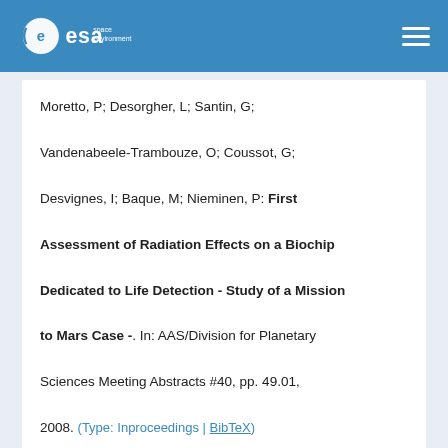ESA Space Environment — navigation header
Moretto, P; Desorgher, L; Santin, G; Vandenabeele-Trambouze, O; Coussot, G; Desvignes, I; Baque, M; Nieminen, P: First Assessment of Radiation Effects on a Biochip Dedicated to Life Detection - Study of a Mission to Mars Case -. In: AAS/Division for Planetary Sciences Meeting Abstracts #40, pp. 49.01, 2008. (Type: Inproceedings | BibTeX)
Glover, Alexi; Donati, Alessandro; di Marco, Federico; Esteve, Sergio; Evans, Hugh; Ibarmia, Sergio; Sandra, Negrin; Nieminen, Petteri; Baumgartner, Alexander; Pantoquillo, Marta: